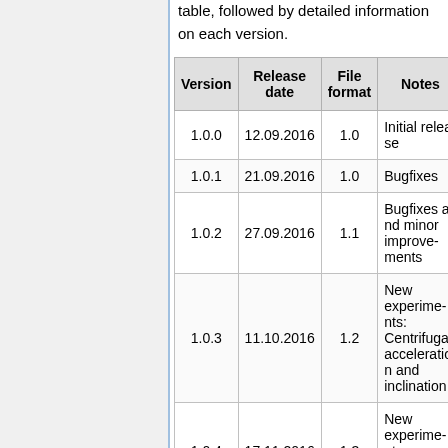table, followed by detailed information on each version.
| Version | Release date | File format | Notes |
| --- | --- | --- | --- |
| 1.0.0 | 12.09.2016 | 1.0 | Initial release |
| 1.0.1 | 21.09.2016 | 1.0 | Bugfixes |
| 1.0.2 | 27.09.2016 | 1.1 | Bugfixes and minor improvements |
| 1.0.3 | 11.10.2016 | 1.2 | New experiments: Centrifugal acceleration and inclination |
| 1.0.4 | 17.11.2016 | 1.3 | New experiments: Acoustic stopwatch |